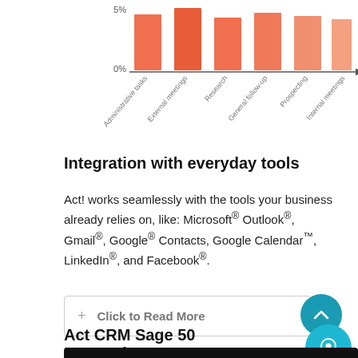[Figure (bar-chart): ]
Integration with everyday tools
Act! works seamlessly with the tools your business already relies on, like: Microsoft® Outlook®, Gmail®, Google® Contacts, Google Calendar™, LinkedIn®, and Facebook®.
+ Click to Read More
Act CRM Sage 50 Integration
[Figure (screenshot): Video thumbnail showing AlphaLogix | Alphalink Demons... with logo and vertical dots menu on dark background]